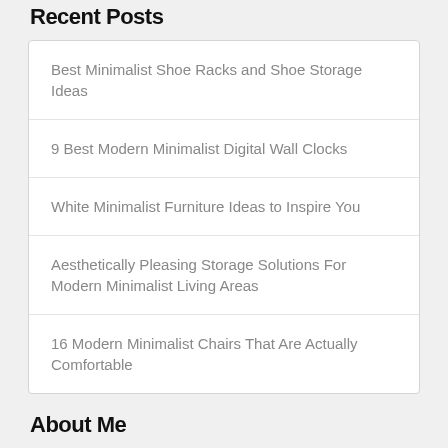Recent Posts
Best Minimalist Shoe Racks and Shoe Storage Ideas
9 Best Modern Minimalist Digital Wall Clocks
White Minimalist Furniture Ideas to Inspire You
Aesthetically Pleasing Storage Solutions For Modern Minimalist Living Areas
16 Modern Minimalist Chairs That Are Actually Comfortable
About Me
[Figure (photo): A grayscale photo of a person partially visible at the bottom, shown outdoors.]